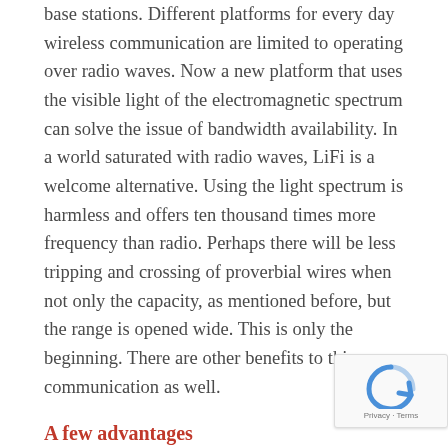base stations.  Different platforms for every day wireless communication are limited to operating over radio waves.  Now a new platform that uses the visible light of the electromagnetic spectrum can solve the issue of bandwidth availability.  In a world saturated with radio waves, LiFi is a welcome alternative.  Using the light spectrum is harmless and offers ten thousand times more frequency than radio.  Perhaps there will be less tripping and crossing of proverbial wires when not only the capacity, as mentioned before, but the range is opened wide.  This is only the beginning.  There are other benefits to this new communication as well.
A few advantages